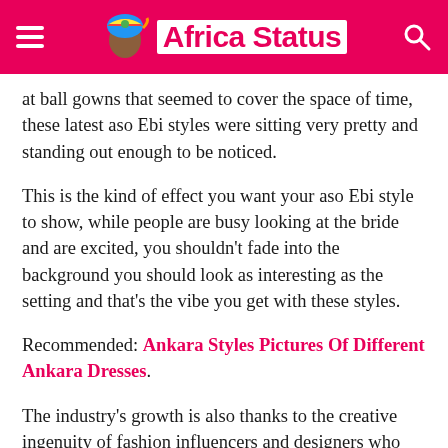Africa Status
at ball gowns that seemed to cover the space of time, these latest aso Ebi styles were sitting very pretty and standing out enough to be noticed.
This is the kind of effect you want your aso Ebi style to show, while people are busy looking at the bride and are excited, you shouldn't fade into the background you should look as interesting as the setting and that's the vibe you get with these styles.
Recommended: Ankara Styles Pictures Of Different Ankara Dresses.
The industry's growth is also thanks to the creative ingenuity of fashion influencers and designers who have turned the industry into one that creates some of the best looks world wide.